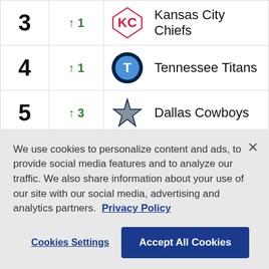| Rank | Change | Team |
| --- | --- | --- |
| 3 | ↑ 1 | Kansas City Chiefs |
| 4 | ↑ 1 | Tennessee Titans |
| 5 | ↑ 3 | Dallas Cowboys |
| 6 | ↓ 3 | Los Angeles Rams |
| 7 | - | Cincinnati Bengals |
We use cookies to personalize content and ads, to provide social media features and to analyze our traffic. We also share information about your use of our site with our social media, advertising and analytics partners. Privacy Policy
Cookies Settings
Accept All Cookies